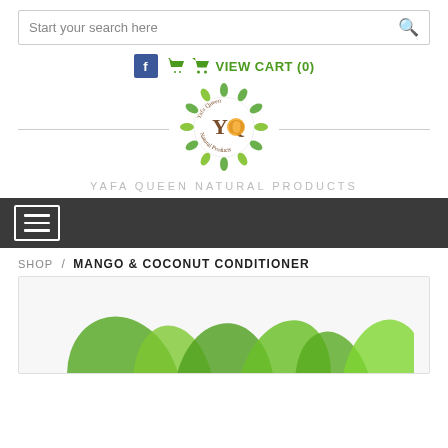Start your search here
VIEW CART (0)
[Figure (logo): Yafa Queen Natural Products circular logo with green leaf wreath, YQ letters and orange circle]
YAFA QUEEN NATURAL PRODUCTS
SHOP / MANGO & COCONUT CONDITIONER
[Figure (photo): Product image area showing green plant leaves at bottom, partially visible]